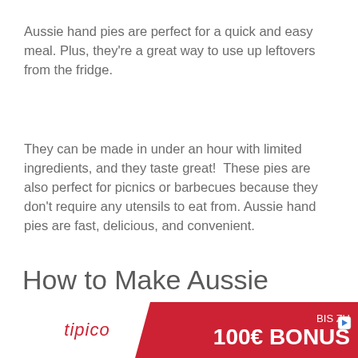Aussie hand pies are perfect for a quick and easy meal. Plus, they’re a great way to use up leftovers from the fridge.
They can be made in under an hour with limited ingredients, and they taste great!  These pies are also perfect for picnics or barbecues because they don’t require any utensils to eat from. Aussie hand pies are fast, delicious, and convenient.
How to Make Aussie Hand Pies?
[Figure (other): Tipico advertisement banner in red with white tipico logo on left and BIS ZU 100€ BONUS text on right]